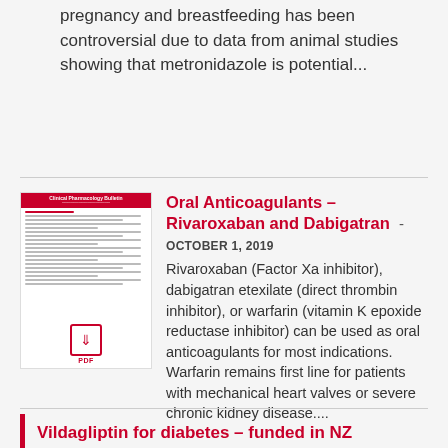pregnancy and breastfeeding has been controversial due to data from animal studies showing that metronidazole is potential...
[Figure (other): Thumbnail image of a Clinical Pharmacology Bulletin PDF document with red header and PDF download icon]
Oral Anticoagulants – Rivaroxaban and Dabigatran -
OCTOBER 1, 2019
Rivaroxaban (Factor Xa inhibitor), dabigatran etexilate (direct thrombin inhibitor), or warfarin (vitamin K epoxide reductase inhibitor) can be used as oral anticoagulants for most indications. Warfarin remains first line for patients with mechanical heart valves or severe chronic kidney disease....
Vildagliptin for diabetes – funded in NZ